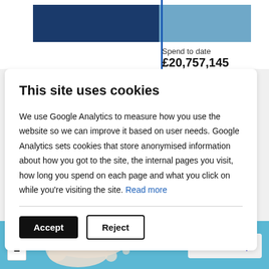[Figure (bar-chart): Spend to date]
Spend to date £20,757,145 (68.87%)
This site uses cookies
We use Google Analytics to measure how you use the website so we can improve it based on user needs. Google Analytics sets cookies that store anonymised information about how you got to the site, the internal pages you visit, how long you spend on each page and what you click on while you're visiting the site. Read more
Accept
Reject
[Figure (map): Map of Scotland shown at the bottom of the page with zoom controls (+/-) and a Scroll to top button]